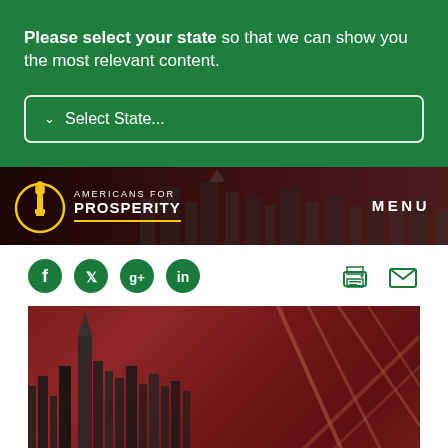Please select your state so that we can show you the most relevant content.
Select State...
[Figure (logo): Americans for Prosperity logo with torch icon and navigation bar with MENU label]
[Figure (infographic): Social media icons: Facebook, Twitter, Google+, LinkedIn; action icons: print, email]
[Figure (photo): Nashville skyline with AT&T building and railway infrastructure overlay on dark red background]